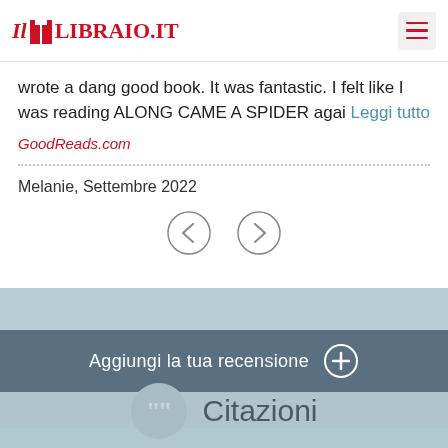IL LIBRAIO.IT
wrote a dang good book. It was fantastic. I felt like I was reading ALONG CAME A SPIDER agai Leggi tutto
GoodReads.com
Melanie, Settembre 2022
Aggiungi la tua recensione
Citazioni